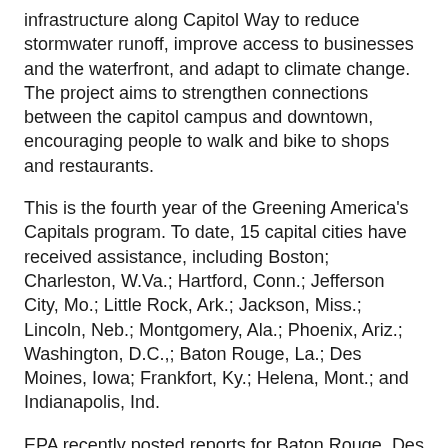infrastructure along Capitol Way to reduce stormwater runoff, improve access to businesses and the waterfront, and adapt to climate change. The project aims to strengthen connections between the capitol campus and downtown, encouraging people to walk and bike to shops and restaurants.
This is the fourth year of the Greening America's Capitals program. To date, 15 capital cities have received assistance, including Boston; Charleston, W.Va.; Hartford, Conn.; Jefferson City, Mo.; Little Rock, Ark.; Jackson, Miss.; Lincoln, Neb.; Montgomery, Ala.; Phoenix, Ariz.; Washington, D.C.,; Baton Rouge, La.; Des Moines, Iowa; Frankfort, Ky.; Helena, Mont.; and Indianapolis, Ind.
EPA recently posted reports for Baton Rouge, Des Moines, Frankfort, Helena, and Indianapolis. EPA assistance will help the cities pursue green infrastructure, more walkable streets and other amenities. View design options for each city at http://www.flickr.com/photos/usepagov/sets/7215763320